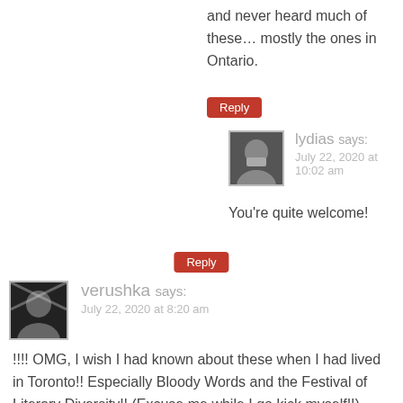and never heard much of these… mostly the ones in Ontario.
Reply
lydias says: July 22, 2020 at 10:02 am
You're quite welcome!
Reply
verushka says: July 22, 2020 at 8:20 am
!!!! OMG, I wish I had known about these when I had lived in Toronto!! Especially Bloody Words and the Festival of Literary Diversity!! (Excuse me while I go kick myself!!)
Reply
lydias says: July 22, 2020 at 10:03 am